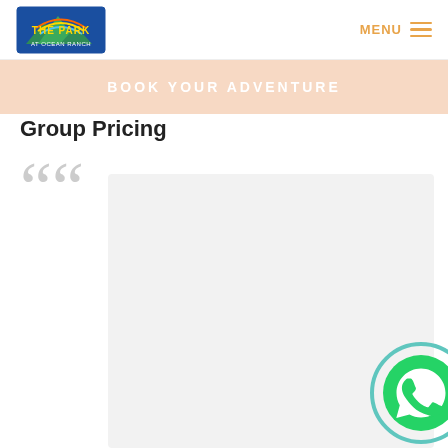THE PARK AT OCEAN RANCH | MENU
BOOK YOUR ADVENTURE
Group Pricing
[Figure (logo): The Park at Ocean Ranch logo with mountains and blue/green/yellow design]
[Figure (illustration): Large decorative opening quotation marks in light gray]
[Figure (illustration): WhatsApp icon - teal circle with white phone/speech bubble icon inside green circle]